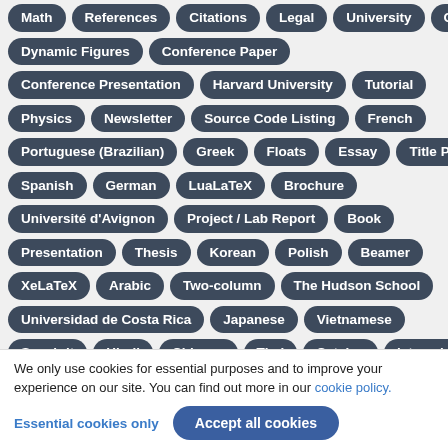Math
References
Citations
Legal
University
Czech
Dynamic Figures
Conference Paper
Conference Presentation
Harvard University
Tutorial
Physics
Newsletter
Source Code Listing
French
Portuguese (Brazilian)
Greek
Floats
Essay
Title Page
Spanish
German
LuaLaTeX
Brochure
Université d'Avignon
Project / Lab Report
Book
Presentation
Thesis
Korean
Polish
Beamer
XeLaTeX
Arabic
Two-column
The Hudson School
Universidad de Costa Rica
Japanese
Vietnamese
Sanskrit
Hindi
Chinese
Thai
Catalan
latexmkrc
Russian
Research Proposal
Lecture Notes
R
Dutch
We only use cookies for essential purposes and to improve your experience on our site. You can find out more in our cookie policy.
Essential cookies only
Accept all cookies